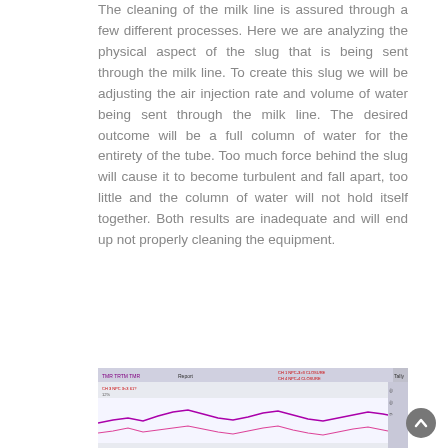The cleaning of the milk line is assured through a few different processes. Here we are analyzing the physical aspect of the slug that is being sent through the milk line. To create this slug we will be adjusting the air injection rate and volume of water being sent through the milk line. The desired outcome will be a full column of water for the entirety of the tube. Too much force behind the slug will cause it to become turbulent and fall apart, too little and the column of water will not hold itself together. Both results are inadequate and will end up not properly cleaning the equipment.
[Figure (screenshot): A screenshot of a software interface showing a graph or waveform display with colored lines and labels, partially visible at the bottom of the page.]